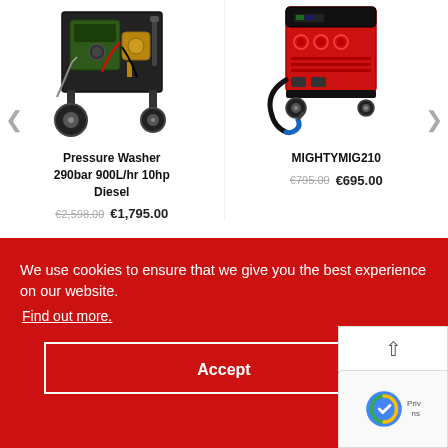[Figure (photo): Pressure washer on wheels - diesel powered, black frame with pump, 290bar 900L/hr 10hp]
Pressure Washer 290bar 900L/hr 10hp Diesel
€2,598.00 €1,795.00
[Figure (photo): MIGHTYMIG210 MIG welder - red and black unit on wheels with welding torch cable]
MIGHTYMIG210
€795.00 €695.00
We use cookies to ensure that we give you the best experience on our website.
Find out more.
Accept